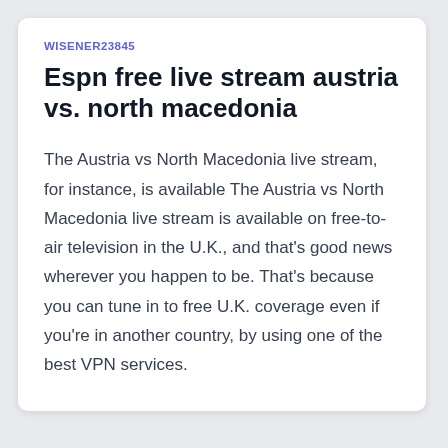WISENER23845
Espn free live stream austria vs. north macedonia
The Austria vs North Macedonia live stream, for instance, is available The Austria vs North Macedonia live stream is available on free-to-air television in the U.K., and that’s good news wherever you happen to be. That’s because you can tune in to free U.K. coverage even if you’re in another country, by using one of the best VPN services.